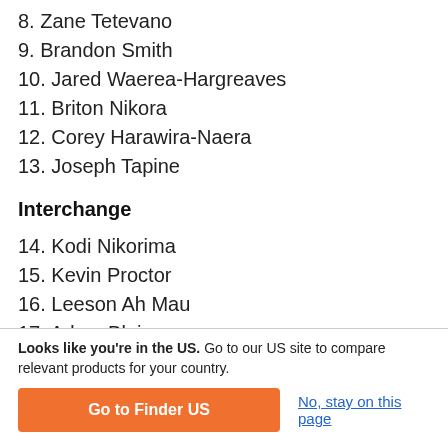8. Zane Tetevano
9. Brandon Smith
10. Jared Waerea-Hargreaves
11. Briton Nikora
12. Corey Harawira-Naera
13. Joseph Tapine
Interchange
14. Kodi Nikorima
15. Kevin Proctor
16. Leeson Ah Mau
17. Adam Blair
Looks like you're in the US. Go to our US site to compare relevant products for your country.
Go to Finder US
No, stay on this page